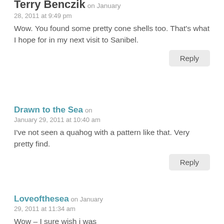Terry Benczik on January 28, 2011 at 9:49 pm
Wow. You found some pretty cone shells too. That's what I hope for in my next visit to Sanibel.
Reply
Drawn to the Sea on January 29, 2011 at 10:40 am
I've not seen a quahog with a pattern like that. Very pretty find.
Reply
Loveofthesea on January 29, 2011 at 11:34 am
Wow – I sure wish i was